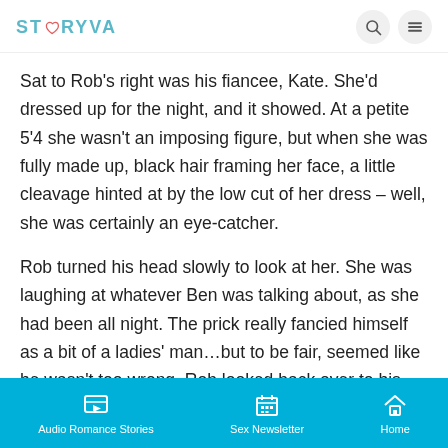STORYVA
Sat to Rob’s right was his fiancee, Kate. She’d dressed up for the night, and it showed. At a petite 5’4 she wasn’t an imposing figure, but when she was fully made up, black hair framing her face, a little cleavage hinted at by the low cut of her dress – well, she was certainly an eye-catcher.
Rob turned his head slowly to look at her. She was laughing at whatever Ben was talking about, as she had been all night. The prick really fancied himself as a bit of a ladies’ man…but to be fair, seemed like he wasn’t too wrong. Rob looked back over to his left,
Audio Romance Stories   Sex Newsletter   Home